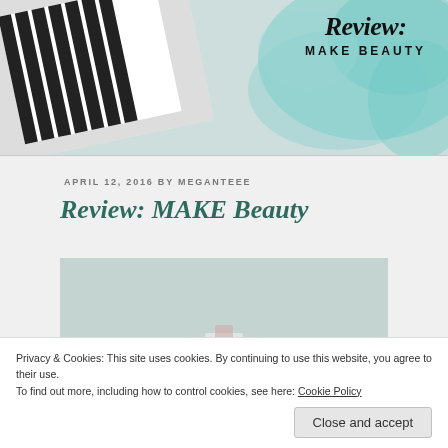[Figure (photo): Header image showing a book or tablet with black stripes on a light teal/mint background, with a decorative teal watercolor splash on the right side overlaid with 'Review: MAKE BEAUTY' text]
Review:
MAKE BEAUTY
APRIL 12, 2016 BY MEGANTEEE
Review: MAKE Beauty
[Figure (photo): Light teal/mint background photo with a small cosmetic product bottle held by a hand, partially visible]
Privacy & Cookies: This site uses cookies. By continuing to use this website, you agree to their use.
To find out more, including how to control cookies, see here: Cookie Policy
Close and accept